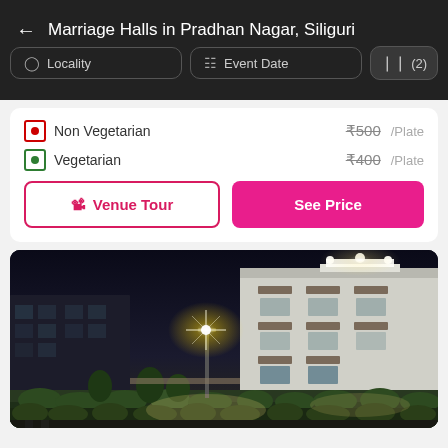Marriage Halls in Pradhan Nagar, Siliguri
Locality
Event Date
(2)
Non Vegetarian  ₹500/Plate
Vegetarian  ₹400/Plate
Venue Tour
See Price
[Figure (photo): Night exterior photo of a white multi-story marriage hall building with illuminated grounds, manicured hedges, garden, and bright street lights in the foreground against a dark sky.]